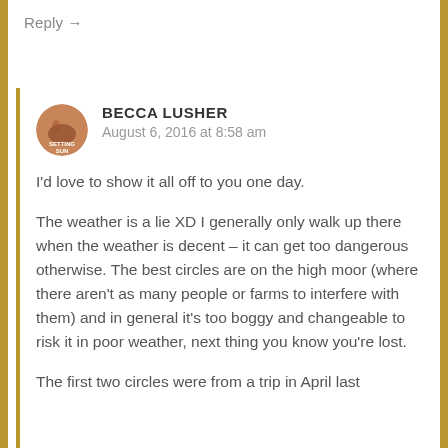Reply →
BECCA LUSHER
August 6, 2016 at 8:58 am
I'd love to show it all off to you one day.
The weather is a lie XD I generally only walk up there when the weather is decent – it can get too dangerous otherwise. The best circles are on the high moor (where there aren't as many people or farms to interfere with them) and in general it's too boggy and changeable to risk it in poor weather, next thing you know you're lost.
The first two circles were from a trip in April last